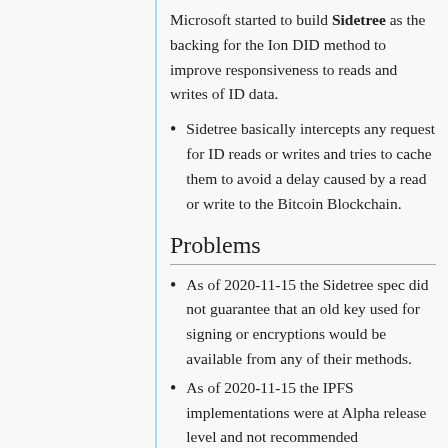Microsoft started to build Sidetree as the backing for the Ion DID method to improve responsiveness to reads and writes of ID data.
Sidetree basically intercepts any request for ID reads or writes and tries to cache them to avoid a delay caused by a read or write to the Bitcoin Blockchain.
Problems
As of 2020-11-15 the Sidetree spec did not guarantee that an old key used for signing or encryptions would be available from any of their methods.
As of 2020-11-15 the IPFS implementations were at Alpha release level and not recommended